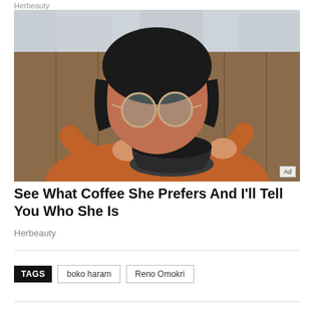Herbeauty
[Figure (photo): Woman with round glasses drinking from a dark coffee cup, wearing an orange/rust top, outdoors with wooden fence and building in background. Ad badge in bottom right corner.]
See What Coffee She Prefers And I'll Tell You Who She Is
Herbeauty
TAGS  boko haram  Reno Omokri